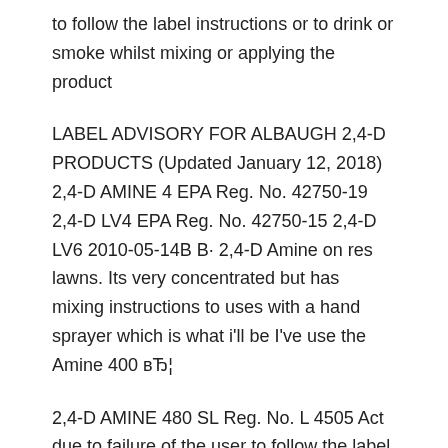to follow the label instructions or to drink or smoke whilst mixing or applying the product
LABEL ADVISORY FOR ALBAUGH 2,4-D PRODUCTS (Updated January 12, 2018) 2,4-D AMINE 4 EPA Reg. No. 42750-19 2,4-D LV4 EPA Reg. No. 42750-15 2,4-D LV6 2010-05-14B В· 2,4-D Amine on res lawns. Its very concentrated but has mixing instructions to uses with a hand sprayer which is what i'll be I've use the Amine 400 вЂ¦
2,4-D AMINE 480 SL Reg. No. L 4505 Act due to failure of the user to follow the label instructions or to drink or smoke whilst mixing or applying the product 2012-05-06B В· How to mix 2-4d? Discussion in ' you really need to get some authoritative instructions from an internet source or label on your 2,4-D (ester vs. amineвЂ¦